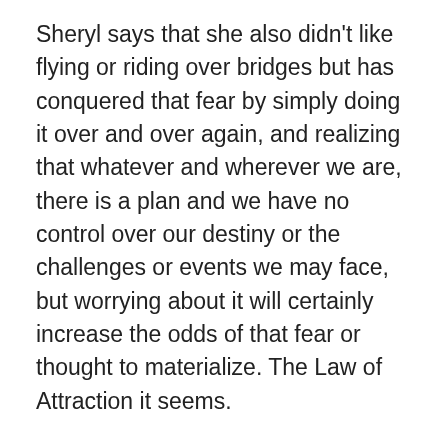Sheryl says that she also didn't like flying or riding over bridges but has conquered that fear by simply doing it over and over again, and realizing that whatever and wherever we are, there is a plan and we have no control over our destiny or the challenges or events we may face, but worrying about it will certainly increase the odds of that fear or thought to materialize. The Law of Attraction it seems.
Emma's sister had an extreme fear of hospitals known as nosocomephobia and it is more common than many people are aware of. It is the fear that entering a hospital is a very scary proposition. Nixon was said to have this fear and